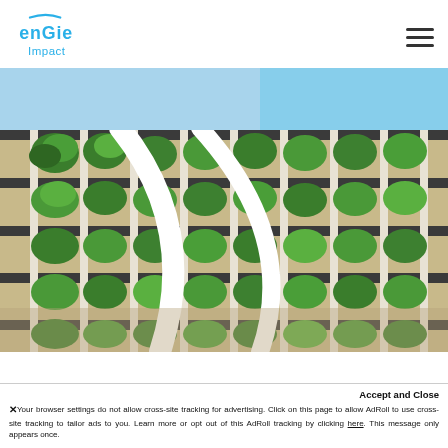[Figure (logo): ENGIE Impact logo — blue arc and text 'engie' with 'Impact' below in blue]
[Figure (photo): Upward-angle photo of a modern building facade covered with lush green vertical gardens / plants on white structural frames against a blue sky, with a large white curved sculptural element in the foreground]
Accept and Close
Your browser settings do not allow cross-site tracking for advertising. Click on this page to allow AdRoll to use cross-site tracking to tailor ads to you. Learn more or opt out of this AdRoll tracking by clicking here. This message only appears once.